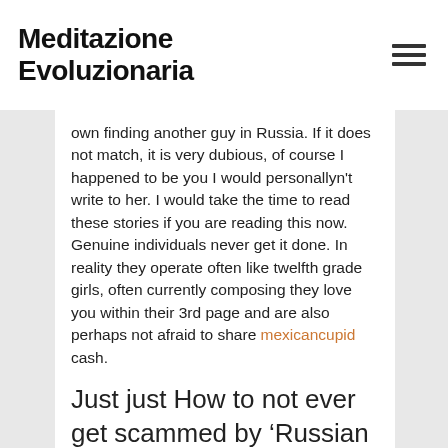Meditazione Evoluzionaria
own finding another guy in Russia. If it does not match, it is very dubious, of course I happened to be you I would personallyn't write to her. I would take the time to read these stories if you are reading this now. Genuine individuals never get it done. In reality they operate often like twelfth grade girls, often currently composing they love you within their 3rd page and are also perhaps not afraid to share mexicancupid cash.
Just just How to not ever get scammed by ‘Russian women’ online